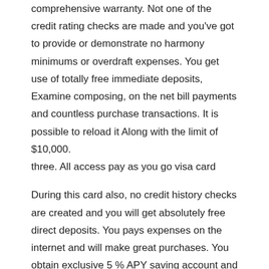comprehensive warranty. Not one of the credit rating checks are made and you've got to provide or demonstrate no harmony minimums or overdraft expenses. You get use of totally free immediate deposits, Examine composing, on the net bill payments and countless purchase transactions. It is possible to reload it Along with the limit of $10,000.
three. All access pay as you go visa card
During this card also, no credit history checks are created and you will get absolutely free direct deposits. You pays expenses on the internet and will make great purchases. You obtain exclusive 5 % APY saving account and no overdraft cost is needed. It is possible to include up till $ten, 000 to it as credit rating harmony.
four. Eyesight premier pay as you go visa card
This card comes along with no weekly payment, no activation fee